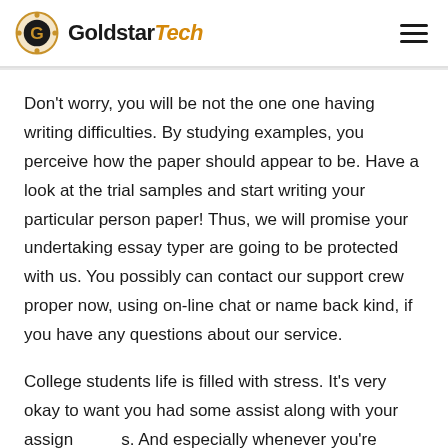GoldstarTech
Don't worry, you will be not the one one having writing difficulties. By studying examples, you perceive how the paper should appear to be. Have a look at the trial samples and start writing your particular person paper! Thus, we will promise your undertaking essay typer are going to be protected with us. You possibly can contact our support crew proper now, using on-line chat or name back kind, if you have any questions about our service.
College students life is filled with stress. It's very okay to want you had some assist along with your assignments. And especially whenever you're overburned along with your workload. For those essay typer who need assistance...